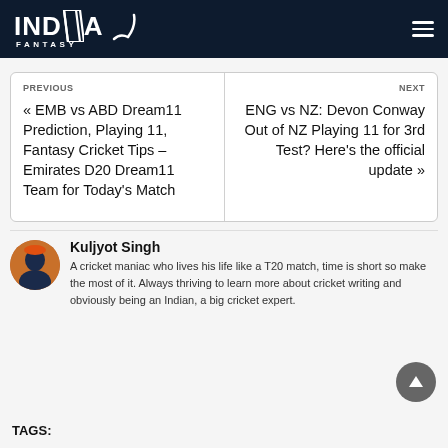INDIA FANTASY
PREVIOUS
« EMB vs ABD Dream11 Prediction, Playing 11, Fantasy Cricket Tips – Emirates D20 Dream11 Team for Today's Match
NEXT
ENG vs NZ: Devon Conway Out of NZ Playing 11 for 3rd Test? Here's the official update »
Kuljyot Singh
A cricket maniac who lives his life like a T20 match, time is short so make the most of it. Always thriving to learn more about cricket writing and obviously being an Indian, a big cricket expert.
TAGS: